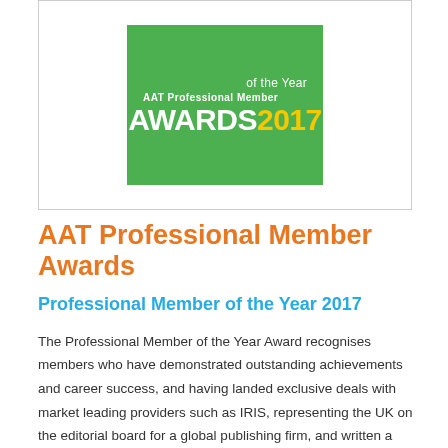[Figure (logo): AAT Professional Member Awards 2017 logo — green background with white text 'AAT Professional Member' and 'AWARDS' and yellow '2017']
AAT Professional Member Awards
Professional Member of the Year 2017
The Professional Member of the Year Award recognises members who have demonstrated outstanding achievements and career success, and having landed exclusive deals with market leading providers such as IRIS, representing the UK on the editorial board for a global publishing firm, and written a number of books in the past 12 months alone, Director, Steve Collings was a perfect fit for the accolade. The quality of entries was extremely high for the 2017 awards, so making the shortlist of just 4 members and being 'Highly Commended' was an